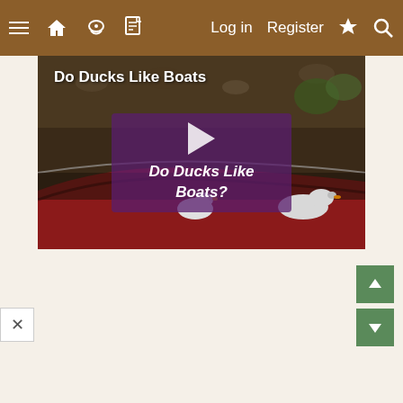Navigation bar with menu, home, forum, document icons; Log in, Register, lightning, search links
[Figure (screenshot): Video thumbnail showing ducks near red boats/cars with title 'Do Ducks Like Boats' and a play button overlay reading 'Do Ducks Like Boats?']
[Figure (other): Up arrow navigation button (green)]
[Figure (other): Down arrow navigation button (green)]
[Figure (other): Close (X) button bottom left]